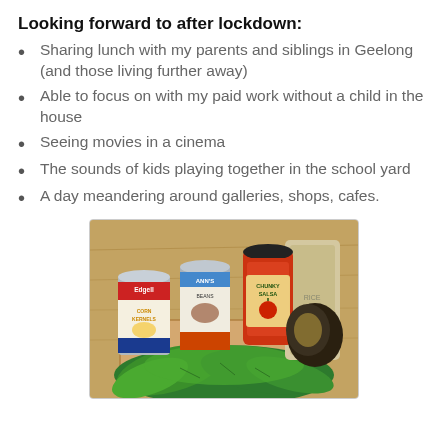Looking forward to after lockdown:
Sharing lunch with my parents and siblings in Geelong (and those living further away)
Able to focus on with my paid work without a child in the house
Seeing movies in a cinema
The sounds of kids playing together in the school yard
A day meandering around galleries, shops, cafes.
[Figure (photo): Photo of food ingredients on a wooden cutting board: an Edgell corn kernels tin, a tin of Ann's beans, a jar of chunky salsa sauce, a large grain bag, an avocado, and fresh green spinach/basil leaves spread in the foreground.]